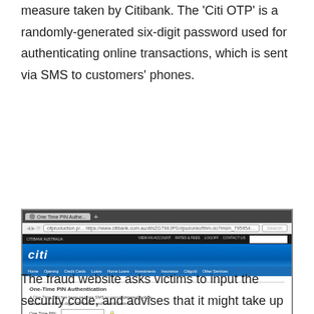measure taken by Citibank. The 'Citi OTP' is a randomly-generated six-digit password used for authenticating online transactions, which is sent via SMS to customers' phones.
[Figure (screenshot): Screenshot of a fake Citibank website showing a One-Time PIN Authentication page. The page displays the Citibank Australia interface with a blue header containing the Citi logo, navigation links, and a form asking users to enter a 6-digit OTP that was sent via SMS.]
The fraud website asks victims to input the security code, and advises that it might take up to five minutes to arrive via text message.